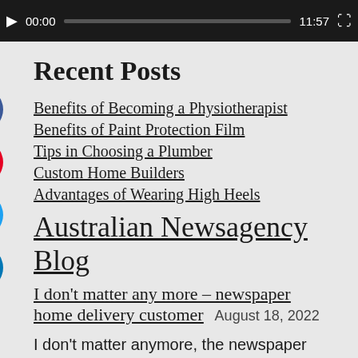[Figure (screenshot): Video player bar showing play button, time 00:00, progress bar, duration 11:57, and fullscreen button on dark background]
Recent Posts
Benefits of Becoming a Physiotherapist
Benefits of Paint Protection Film
Tips in Choosing a Plumber
Custom Home Builders
Advantages of Wearing High Heels
Australian Newsagency Blog
I don't matter any more – newspaper home delivery customer   August 18, 2022
I don't matter anymore, the newspaper customer said on the other end of the phone a couple of days ago. They called me because they could not get any joy from the